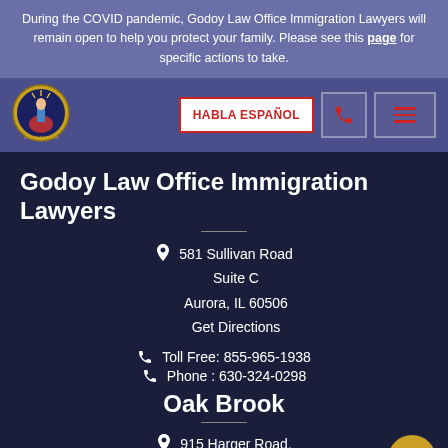During the COVID pandemic, Godoy Law Office Immigration Lawyers will remain open to help you protect your family. Please see this page for specific actions to take.
[Figure (logo): Godoy Law Office circular logo with Statue of Liberty illustration]
HABLA ESPAÑOL
Godoy Law Office Immigration Lawyers
581 Sullivan Road
Suite C
Aurora, IL 60506
Get Directions
Toll Free: 855-965-1938
Phone : 630-324-0298
Oak Brook
915 Harger Road,
Suite 300,